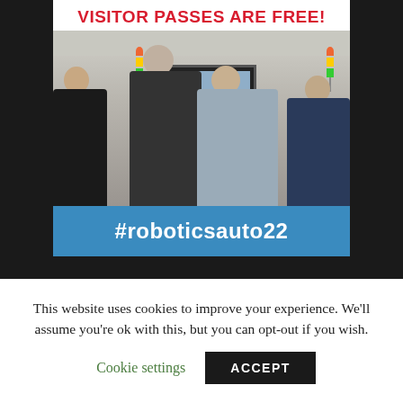[Figure (photo): Trade show advertisement image with bold red text 'VISITOR PASSES ARE FREE!' at top, photo of people at a robotics/automation trade show booth with signal tower lights and monitors, and a blue bar at the bottom with white text '#roboticsauto22']
This website uses cookies to improve your experience. We'll assume you're ok with this, but you can opt-out if you wish.
Cookie settings
ACCEPT